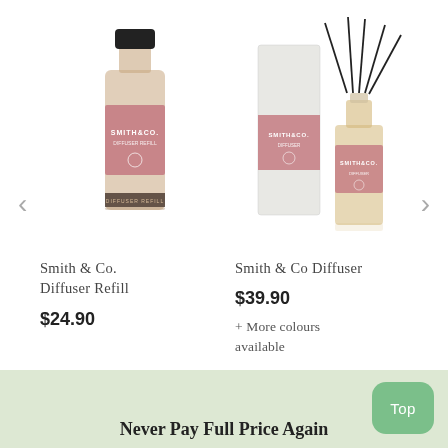[Figure (photo): Smith & Co. Diffuser Refill bottle with dark cap and pink label, white background]
Smith & Co.
Diffuser Refill
$24.90
[Figure (photo): Smith & Co Diffuser product: white box packaging beside a glass diffuser bottle with black reeds, pink label]
Smith & Co Diffuser
$39.90
+ More colours available
Never Pay Full Price Again